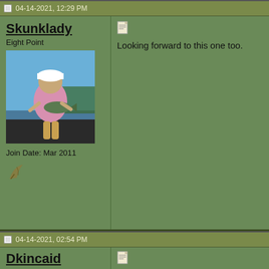04-14-2021, 12:29 PM
Skunklady
Eight Point
[Figure (photo): Woman on boat holding a large bass fish, lake in background, wearing white cap and pink shirt]
Join Date: Mar 2011
[Figure (illustration): Small feather/quill icon]
[Figure (illustration): Small document/paper icon]
Looking forward to this one too.
04-14-2021, 02:54 PM
Dkincaid
Ten Point
[Figure (photo): Close-up photo of cracked pavement/concrete]
[Figure (illustration): Small document/paper icon]
Sent mine in today
Sent from my iPhone using Tapatalk